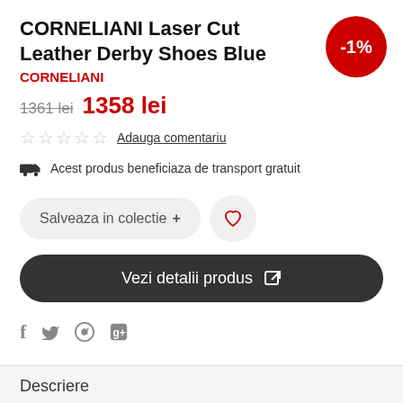CORNELIANI Laser Cut Leather Derby Shoes Blue
CORNELIANI
-1%
1361 lei  1358 lei
☆☆☆☆☆  Adauga comentariu
Acest produs beneficiaza de transport gratuit
Salveaza in colectie +
Vezi detalii produs
f  🐦  ⓟ  g+
Descriere